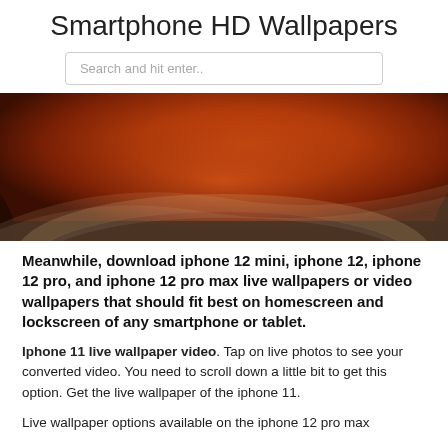Smartphone HD Wallpapers
[Figure (screenshot): Search bar input field with placeholder text 'Search and hit enter..']
[Figure (illustration): Abstract orange and dark wavy gradient background wallpaper image]
Meanwhile, download iphone 12 mini, iphone 12, iphone 12 pro, and iphone 12 pro max live wallpapers or video wallpapers that should fit best on homescreen and lockscreen of any smartphone or tablet.
Iphone 11 live wallpaper video. Tap on live photos to see your converted video. You need to scroll down a little bit to get this option. Get the live wallpaper of the iphone 11.
Live wallpaper options available on the iphone 12 pro max